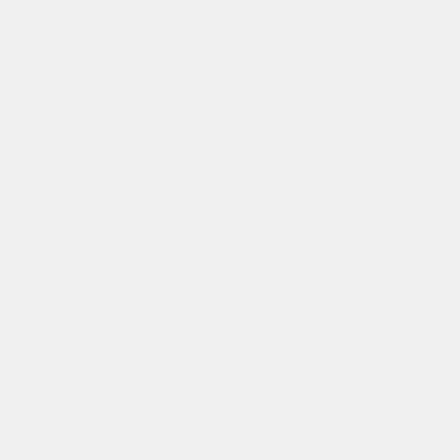(1) An estimate of the comparative costs of the alternative locations shall be made, including
(i) The estimated annual per-square-foot cost of the existing space versus similar estimated market rates for the alternative location, plus
(ii) The estimated per-square-foot cost of any special space (such as laboratory or ADP space) amortized over the term of the lease, plus
(iii) The estimated per-square-foot cost of any tenant alterations required by the central business area amortized over the term of the lease, plus
(iv) The estimated per-square-foot cost of the relocation allowances under
the Federal Travel Regulations (FTR) and other relocation costs which shall be amortized over the term of the lease.
(2) The sum of the cost factors described in paragraph (1) above for each alternative location considered, if it does not exceed by more than 10 percent the cost of locating into the central business area, then the per-square-foot cost of those alternative locations shall be considered substantially equal without further study.
(3) When the per-square-foot cost of an alternative location exceeds by a margin of 15 percent the costs per square foot in the central business area, a study shall be conducted to identify